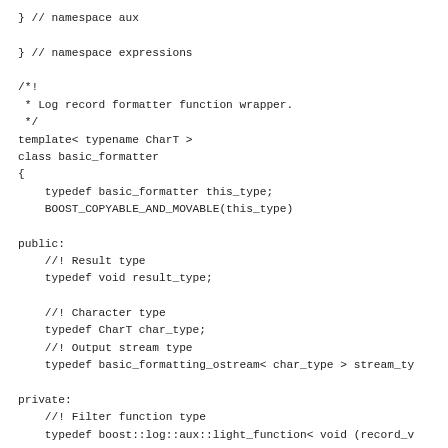} // namespace aux

} // namespace expressions

/*!
 * Log record formatter function wrapper.
 */
template< typename CharT >
class basic_formatter
{
    typedef basic_formatter this_type;
    BOOST_COPYABLE_AND_MOVABLE(this_type)

public:
    //! Result type
    typedef void result_type;

    //! Character type
    typedef CharT char_type;
    //! Output stream type
    typedef basic_formatting_ostream< char_type > stream_ty

private:
    //! Filter function type
    typedef boost::log::aux::light_function< void (record_v

private:
    //! Formatter function
    formatter_type m_Formatter;

public:
    /*!
     * Default constructor. Creates a formatter that only o
     */
    basic_formatter() : m_Formatter(expressions::aux::messa
    {
    }